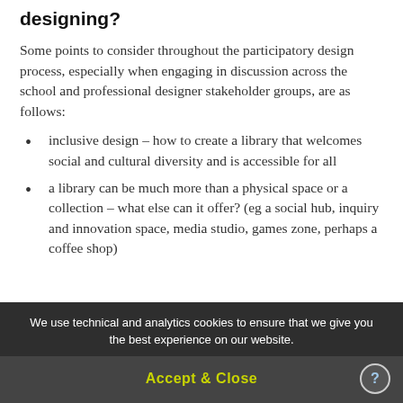designing?
Some points to consider throughout the participatory design process, especially when engaging in discussion across the school and professional designer stakeholder groups, are as follows:
inclusive design – how to create a library that welcomes social and cultural diversity and is accessible for all
a library can be much more than a physical space or a collection – what else can it offer? (eg a social hub, inquiry and innovation space, media studio, games zone, perhaps a coffee shop)
We use technical and analytics cookies to ensure that we give you the best experience on our website.
Accept & Close